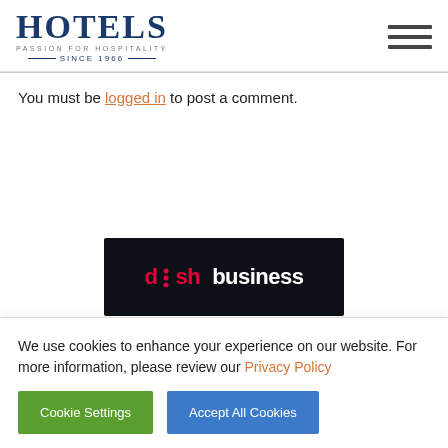HOTELS — PASSION FOR HOSPITALITY — SINCE 1966
You must be logged in to post a comment.
[Figure (logo): Dish Business logo — dark background with 'dish' in red and 'business' in white text]
We use cookies to enhance your experience on our website. For more information, please review our Privacy Policy
Cookie Settings | Accept All Cookies